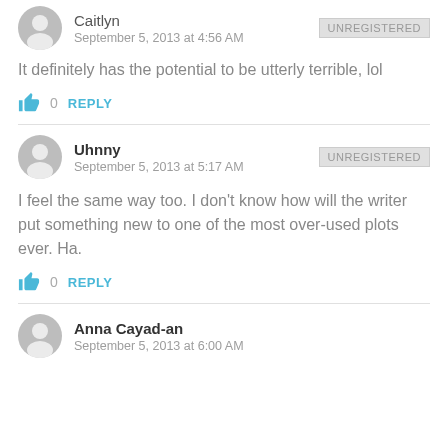Caitlyn
September 5, 2013 at 4:56 AM
It definitely has the potential to be utterly terrible, lol
0  REPLY
Uhnny
September 5, 2013 at 5:17 AM
I feel the same way too. I don't know how will the writer put something new to one of the most over-used plots ever. Ha.
0  REPLY
Anna Cayad-an
September 5, 2013 at 6:00 AM